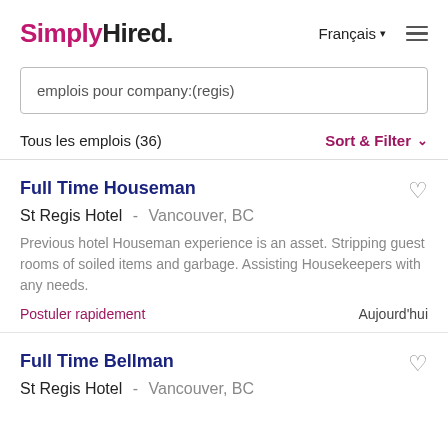SimplyHired. Français ▾ ≡
emplois pour company:(regis)
Tous les emplois (36)
Sort & Filter ▾
Full Time Houseman
St Regis Hotel - Vancouver, BC
Previous hotel Houseman experience is an asset. Stripping guest rooms of soiled items and garbage. Assisting Housekeepers with any needs.
Postuler rapidement
Aujourd'hui
Full Time Bellman
St Regis Hotel - Vancouver, BC